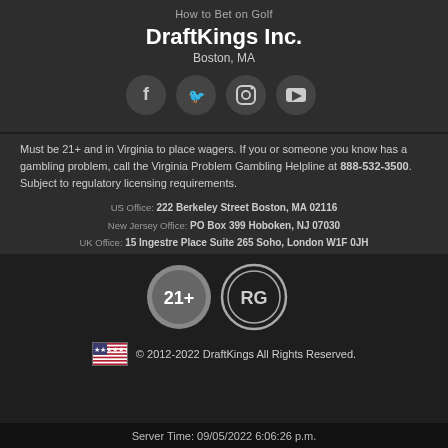How to Bet on Golf
DraftKings Inc.
Boston, MA
[Figure (illustration): Four social media icons in dark circles: Facebook, Twitter, Instagram, YouTube]
Must be 21+ and in Virginia to place wagers. If you or someone you know has a gambling problem, call the Virginia Problem Gambling Helpline at 888-532-3500. Subject to regulatory licensing requirements.
US Office: 222 Berkeley Street Boston, MA 02116
New Jersey Office: PO Box 399 Hoboken, NJ 07030
UK Office: 15 Ingestre Place Suite 265 Soho, London W1F 0JH
[Figure (illustration): 21+ badge circle and RG (Responsible Gambling) circle badge]
© 2012-2022 DraftKings All Rights Reserved.
Server Time: 09/05/2022 6:06:26 p.m.